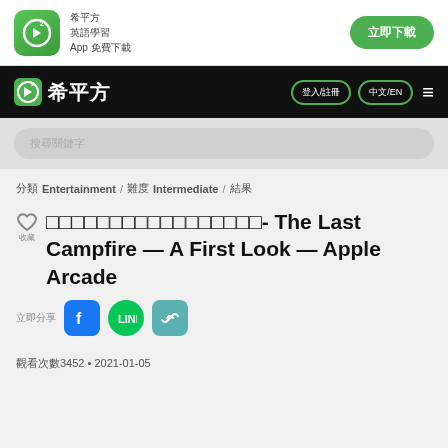[Figure (logo): 希平方 app icon with green background and play button logo, with app name and download button]
希平方 navigation bar with logo and menu buttons
搜尋關鍵字
分類 Entertainment / 難度 Intermediate / 結果
□□□□□□□□□□□□□□□□□- The Last Campfire — A First Look — Apple Arcade
立即分享
觀看次數3452 • 2021-01-05